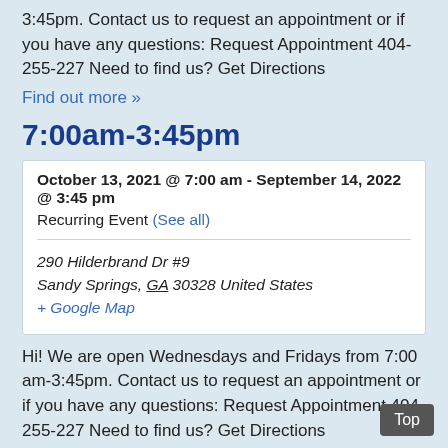3:45pm. Contact us to request an appointment or if you have any questions: Request Appointment 404-255-227 Need to find us? Get Directions
Find out more »
7:00am-3:45pm
| October 13, 2021 @ 7:00 am - September 14, 2022 @ 3:45 pm |
| Recurring Event (See all) |
| 290 Hilderbrand Dr #9
Sandy Springs, GA 30328 United States
+ Google Map |
Hi! We are open Wednesdays and Fridays from 7:00 am-3:45pm. Contact us to request an appointment or if you have any questions: Request Appointment 404-255-227 Need to find us? Get Directions